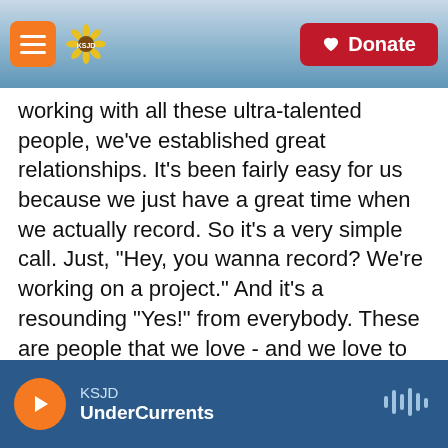KSJD — Donate
working with all these ultra-talented people, we've established great relationships. It's been fairly easy for us because we just have a great time when we actually record. So it's a very simple call. Just, "Hey, you wanna record? We're working on a project." And it's a resounding "Yes!" from everybody. These are people that we love - and we love to work with.
Can you talk a little bit about how you paired the singers with the songs? Did you have the songs written for certain voices? Did you pair them afterwards?
A...
KSJD UnderCurrents